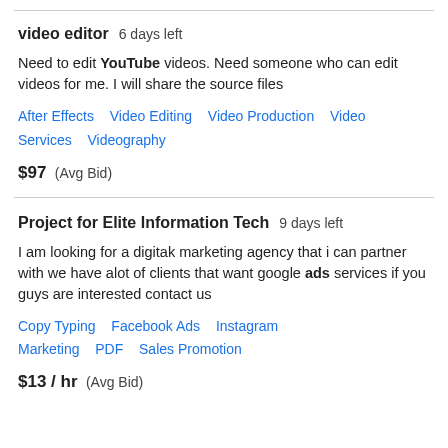video editor  6 days left
Need to edit YouTube videos. Need someone who can edit videos for me. I will share the source files
After Effects   Video Editing   Video Production   Video Services   Videography
$97  (Avg Bid)
Project for Elite Information Tech  9 days left
I am looking for a digitak marketing agency that i can partner with we have alot of clients that want google ads services if you guys are interested contact us
Copy Typing   Facebook Ads   Instagram Marketing   PDF   Sales Promotion
$13 / hr  (Avg Bid)